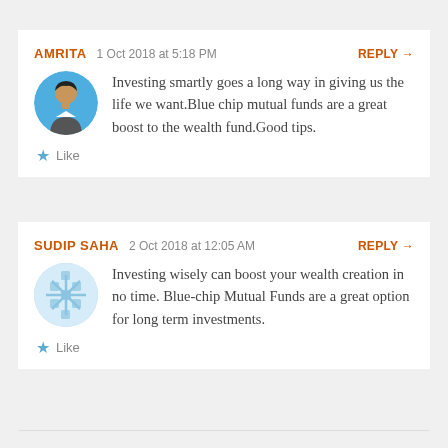AMRITA  1 Oct 2018 at 5:18 PM  REPLY →
[Figure (photo): Round avatar photo of a young man]
Investing smartly goes a long way in giving us the life we want.Blue chip mutual funds are a great boost to the wealth fund.Good tips.
★ Like
SUDIP SAHA  2 Oct 2018 at 12:05 AM  REPLY →
[Figure (logo): Generic snowflake/geometric avatar icon in light blue]
Investing wisely can boost your wealth creation in no time. Blue-chip Mutual Funds are a great option for long term investments.
★ Like